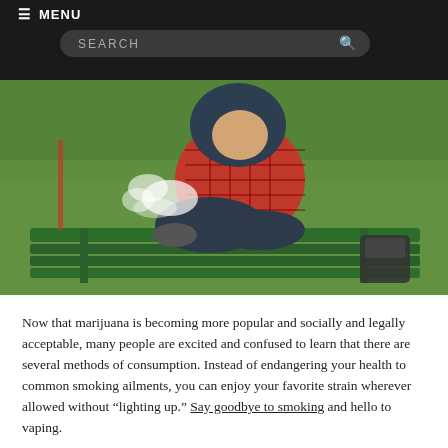≡ MENU   SEARCH
[Figure (photo): Person in a red plaid hoodie sitting cross-legged on a green park bench, exhaling vapor smoke, with a backpack on the bench beside them, green grass in background.]
Now that marijuana is becoming more popular and socially and legally acceptable, many people are excited and confused to learn that there are several methods of consumption. Instead of endangering your health to common smoking ailments, you can enjoy your favorite strain wherever allowed without "lighting up." Say goodbye to smoking and hello to vaping.
The type of product you'll enjoy depends on the kind of vape pen or